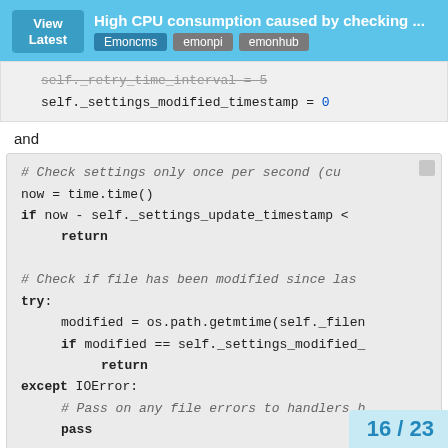View Latest — High CPU consumption caused by checking ... — Emoncms emonpi emonhub
[Figure (screenshot): Code snippet showing self._retry_time_interval = 5 and self._settings_modified_timestamp = 0]
and
[Figure (screenshot): Code block: # Check settings only once per second (cu... / now = time.time() / if now - self._settings_update_timestamp < / return / # Check if file has been modified since las... / try: / modified = os.path.getmtime(self._filen... / if modified == self._settings_modified_... / return / except IOError: / # Pass on any file errors to handlers b... / pass]
16 / 23